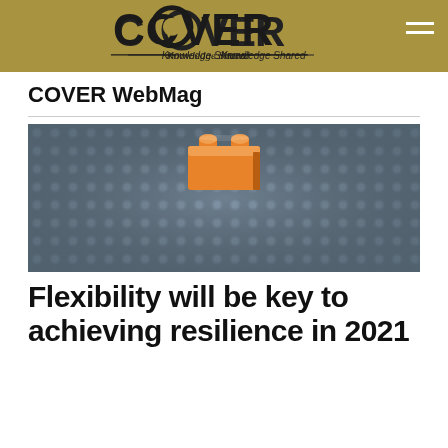COVER Knowledge Shared
COVER WebMag
[Figure (photo): A single orange Lego brick sitting on top of a large flat grey Lego baseplate covered in studs, photographed from a low angle with shallow depth of field.]
Flexibility will be key to achieving resilience in 2021